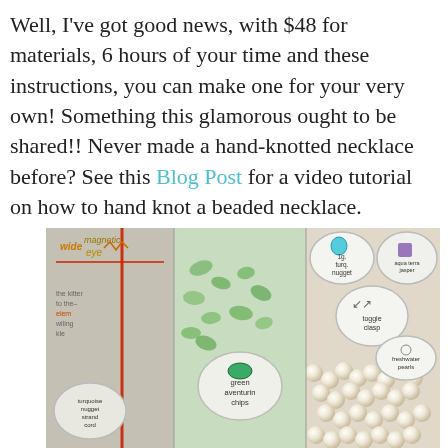Well, I've got good news, with $48 for materials, 6 hours of your time and these instructions, you can make one for your very own! Something this glamorous ought to be shared!! Never made a hand-knotted necklace before? See this Blog Post for a video tutorial on how to hand knot a beaded necklace.
[Figure (photo): Photo of jewelry-making supplies in clear plastic bags: a 'Wide Eye' magnetic needle package on left with a red thread, a bag of green aventurine chips in the middle with a round sticker label, and a bag of freshwater pearls on the right with sticker labels for 1g turquoise nuggets, aqua terra jasper, toggle clasp, and freshwater pearls.]